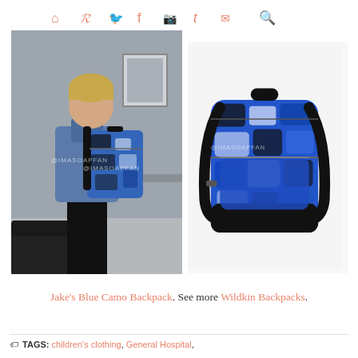🏠 ℗ 🐦 f 📷 t ✉ 🔍
[Figure (photo): A young boy with blond hair seen from behind, wearing a blue jacket and blue camouflage backpack standing in an indoor setting. Watermark reads @IMASOAPFAN]
[Figure (photo): Product photo of a blue camouflage Wildkin backpack with black straps and black bottom panel on a white background. Watermark reads @IMASOAPFAN]
Jake's Blue Camo Backpack. See more Wildkin Backpacks.
🏷 TAGS: children's clothing, General Hospital,